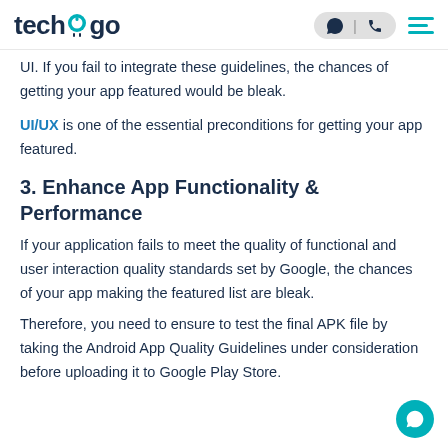techugo
UI. If you fail to integrate these guidelines, the chances of getting your app featured would be bleak.
UI/UX is one of the essential preconditions for getting your app featured.
3. Enhance App Functionality & Performance
If your application fails to meet the quality of functional and user interaction quality standards set by Google, the chances of your app making the featured list are bleak.
Therefore, you need to ensure to test the final APK file by taking the Android App Quality Guidelines under consideration before uploading it to Google Play Store.